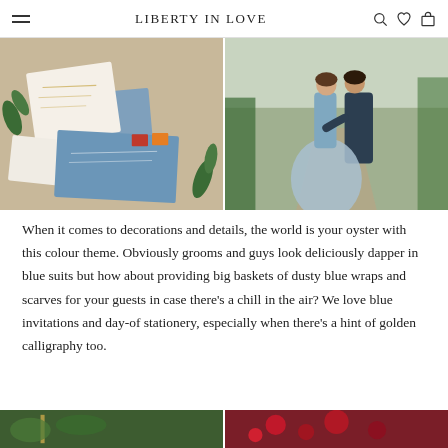Liberty in Love
[Figure (photo): Two-column photo strip: left shows blue wedding stationery and envelopes with gold calligraphy on a linen background with greenery; right shows a couple walking away, bride in a dusty blue tulle gown, groom in a dark suit, on a country path.]
When it comes to decorations and details, the world is your oyster with this colour theme. Obviously grooms and guys look deliciously dapper in blue suits but how about providing big baskets of dusty blue wraps and scarves for your guests in case there's a chill in the air? We love blue invitations and day-of stationery, especially when there's a hint of golden calligraphy too.
[Figure (photo): Two partial photos at the bottom: left shows green foliage with gold detail, right shows rich red/burgundy flowers.]